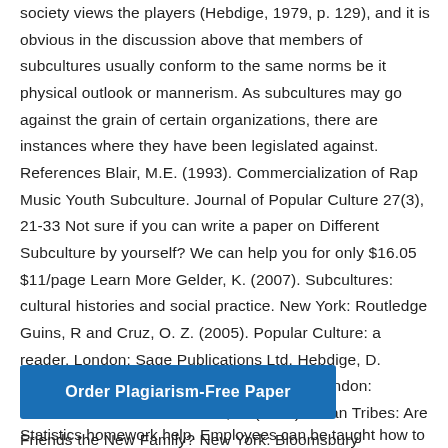society views the players (Hebdige, 1979, p. 129), and it is obvious in the discussion above that members of subcultures usually conform to the same norms be it physical outlook or mannerism. As subcultures may go against the grain of certain organizations, there are instances where they have been legislated against. References Blair, M.E. (1993). Commercialization of Rap Music Youth Subculture. Journal of Popular Culture 27(3), 21-33 Not sure if you can write a paper on Different Subculture by yourself? We can help you for only $16.05 $11/page Learn More Gelder, K. (2007). Subcultures: cultural histories and social practice. New York: Routledge Guins, R and Cruz, O. Z. (2005). Popular Culture: a reader. London: Sage Publications Ltd. Hebdige, D. (1979). Subculture: The meaning of style. London: Methuen and Co. Ltd Watters, E. (2004).Urban Tribes: Are Friends the New Family? New York: Bloomsbury Publishing
[Figure (other): Blue button with white text reading 'Order Plagiarism-Free Paper']
Statistics homework help. Employees can be taught how to be